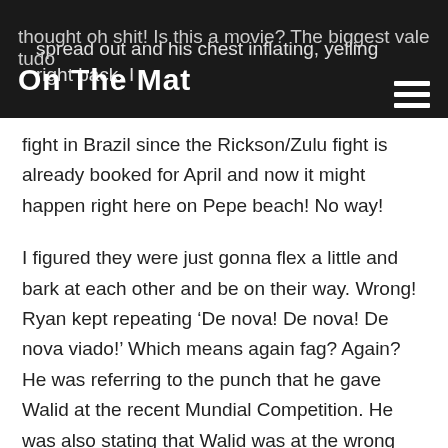On The Mat
spread out and his chest inflating, yelling right back. I thought oh shit! Is this a movie? The biggest vale tudo fight in Brazil since the Rickson/Zulu fight is already booked for April and now it might happen right here on Pepe beach! No way!
I figured they were just gonna flex a little and bark at each other and be on their way. Wrong! Ryan kept repeating ‘De nova! De nova! De nova viado!’ Which means again fag? Again? He was referring to the punch that he gave Walid at the recent Mundial Competition. He was also stating that Walid was at the wrong beach and needed to go back up north where the ‘pale’ people live. Walid was motioning to